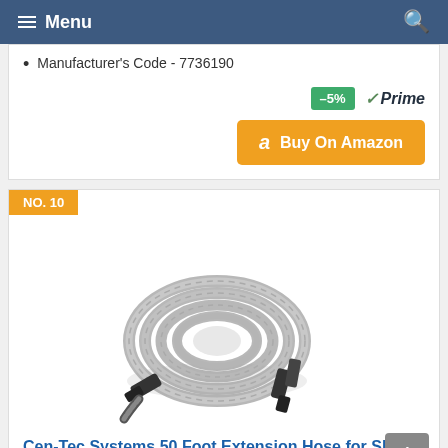Menu
Manufacturer's Code - 7736190
–5% ✓Prime
Buy On Amazon
NO. 10
[Figure (photo): Coiled grey vacuum hose with black connectors/adapters, rolled into a circle]
Cen-Tec Systems 50 Foot Extension Hose for Shop and Garage Vacuums, Ft, Silver